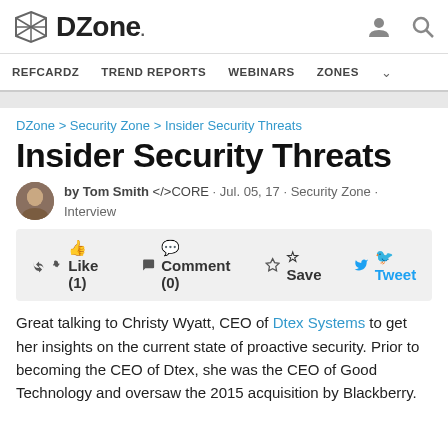DZone. REFCARDZ  TREND REPORTS  WEBINARS  ZONES
DZone > Security Zone > Insider Security Threats
Insider Security Threats
by Tom Smith <>CORE · Jul. 05, 17 · Security Zone · Interview
Like (1)  Comment (0)  Save  Tweet
Great talking to Christy Wyatt, CEO of Dtex Systems to get her insights on the current state of proactive security. Prior to becoming the CEO of Dtex, she was the CEO of Good Technology and oversaw the 2015 acquisition by Blackberry.